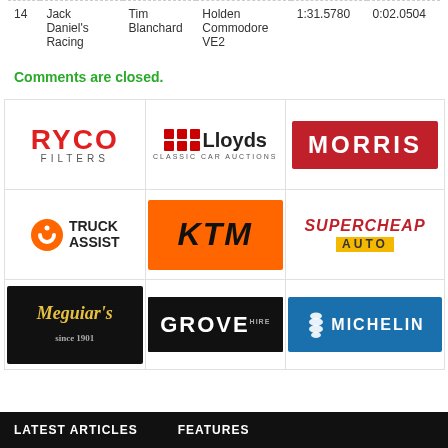| # | Team | Driver | Car | Time | Gap |
| --- | --- | --- | --- | --- | --- |
| 14 | Jack Daniel's Racing | Tim Blanchard | Holden Commodore VE2 | 1:31.5780 | 0:02.0504 |
Comments are closed.
[Figure (logo): Sponsor logos grid: RYCO FILTERS, Lloyds Classic Car Auctions, MORRIS, Truck Assist, KTM, Supercheap Auto, Meguiar's, Grove Hire, Michelin]
LATEST ARTICLES    FEATURES